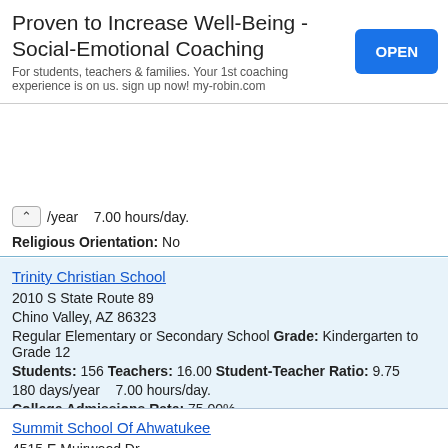[Figure (other): Advertisement banner: 'Proven to Increase Well-Being - Social-Emotional Coaching' with OPEN button]
/year   7.00 hours/day.
Religious Orientation: No
Trinity Christian School
2010 S State Route 89
Chino Valley, AZ 86323
Regular Elementary or Secondary School Grade: Kindergarten to Grade 12
Students: 156 Teachers: 16.00 Student-Teacher Ratio: 9.75
180 days/year    7.00 hours/day.
College Admissions Rate: 75.00%
Religious Orientation: Yes
Summit School Of Ahwatukee
4515 E Muirwood Dr
Phoenix, AZ 85048